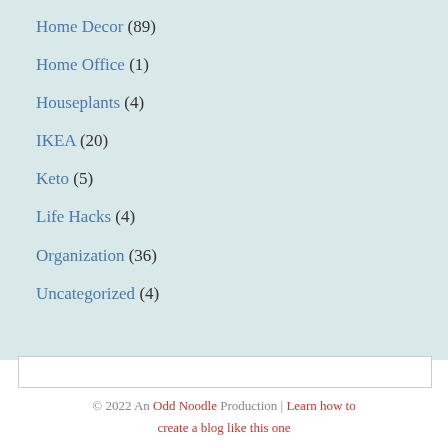Home Decor (89)
Home Office (1)
Houseplants (4)
IKEA (20)
Keto (5)
Life Hacks (4)
Organization (36)
Uncategorized (4)
© 2022 An Odd Noodle Production | Learn how to create a blog like this one